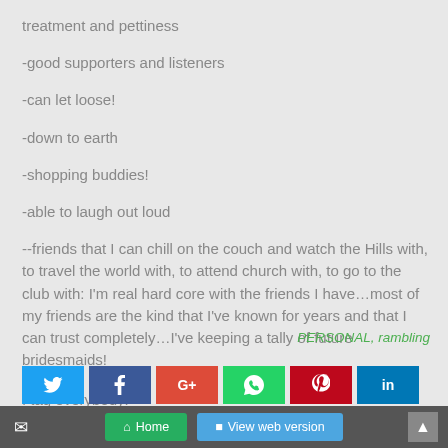treatment and pettiness
-good supporters and listeners
-can let loose!
-down to earth
-shopping buddies!
-able to laugh out loud
--friends that I can chill on the couch and watch the Hills with, to travel the world with, to attend church with, to go to the club with: I'm real hard core with the friends I have...most of my friends are the kind that I've known for years and that I can trust completely...I've keeping a tally of future bridesmaids!
I tag everybody!
PERSONAL, rambling
[Figure (other): Social sharing buttons: Twitter, Facebook, Google+, WhatsApp, Pinterest, LinkedIn, Print, Email, Link]
Home | View web version